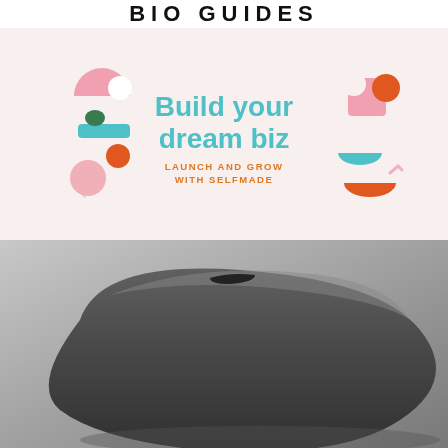BIO GUIDES
[Figure (illustration): Promotional banner with colorful abstract geometric shapes on a light pink background. Center text reads 'Build your dream biz' in teal, with subtitle 'LAUNCH AND GROW WITH SELFMADE' in orange. Left side has pink semicircle, white circle, teal rectangle, orange dot, and pink crescent shapes. Right side has pink square with cutout, orange circle, teal bowl shape, and orange bowl shape.]
[Figure (photo): Close-up black and white photo of a hair dryer, showing the curved body and nozzle from an angle, on a gray background.]